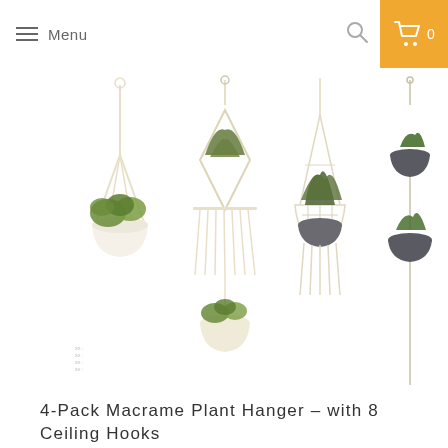Menu
[Figure (illustration): 4-Pack Macrame Plant Hanger set showing four different styles of macrame hangers with potted plants suspended from strings/ropes against white background]
4-Pack Macrame Plant Hanger – with 8 Ceiling Hooks
Uncategorized
$20.96